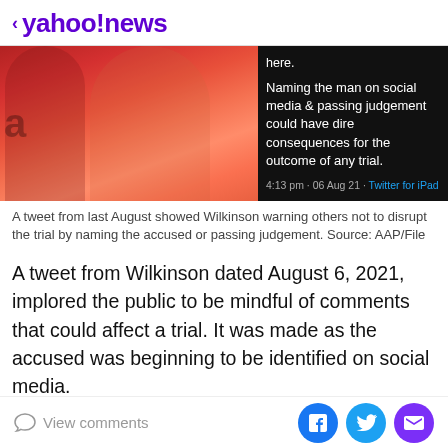< yahoo!news
[Figure (photo): Left: Two women in red/orange outfits at an event with Amazon signage. Right: Dark background tweet reading 'here. Naming the man on social media & passing judgement could have dire consequences for the outcome of any trial. 4:13 pm · 06 Aug 21 · Twitter for iPad']
A tweet from last August showed Wilkinson warning others not to disrupt the trial by naming the accused or passing judgement. Source: AAP/File
A tweet from Wilkinson dated August 6, 2021, implored the public to be mindful of comments that could affect a trial. It was made as the accused was beginning to be identified on social media.
“On the issue of the 26 vo man summonsed for an
View comments | [Facebook] [Twitter] [Email]